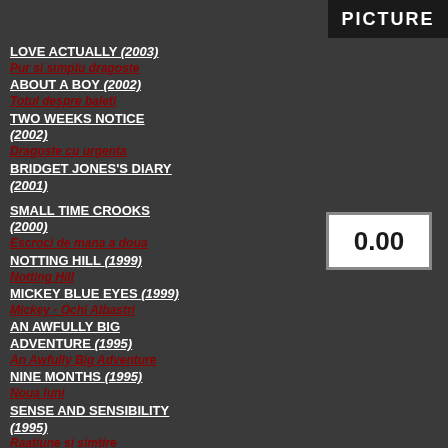PICTURE
LOVE ACTUALLY (2003)
Pur si simplu dragoste
ABOUT A BOY (2002)
Totul despre baieti
TWO WEEKS NOTICE (2002)
Dragoste cu urgenta
BRIDGET JONES'S DIARY (2001)
SMALL TIME CROOKS (2000)
Escroci de mana a doua
NOTTING HILL (1999)
Notting Hill
MICKEY BLUE EYES (1999)
Mickey - Ochi Albastri
AN AWFULLY BIG ADVENTURE (1995)
An Awfully Big Adventure
NINE MONTHS (1995)
Noua luni
SENSE AND SENSIBILITY (1995)
Raatiune si simtire
FOUR WEDDINGS AND A FUNERAL (1994)
Patru nunti si o inmormantare
[Figure (other): Score display box showing 0.00]